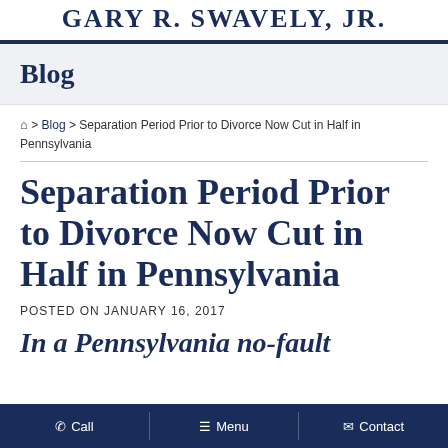GARY R. SWAVELY, Jr.
Blog
🏠 > Blog > Separation Period Prior to Divorce Now Cut in Half in Pennsylvania
Separation Period Prior to Divorce Now Cut in Half in Pennsylvania
POSTED ON JANUARY 16, 2017
In a Pennsylvania no-fault
Call   Menu   Contact